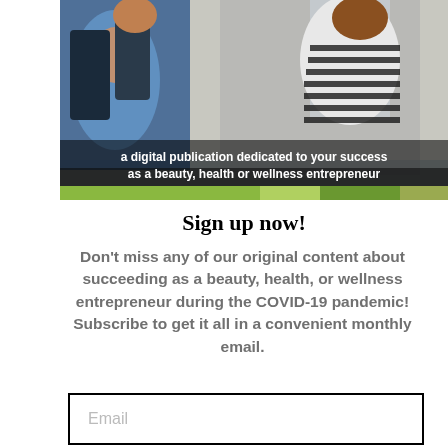[Figure (photo): Two women looking at clothes, one wearing a striped shirt and one a denim jacket, in a clothing store or wardrobe area. Image has a green stripe overlay at the bottom. Text overlay reads: 'a digital publication dedicated to your success as a beauty, health or wellness entrepreneur']
Sign up now!
Don't miss any of our original content about succeeding as a beauty, health, or wellness entrepreneur during the COVID-19 pandemic! Subscribe to get it all in a convenient monthly email.